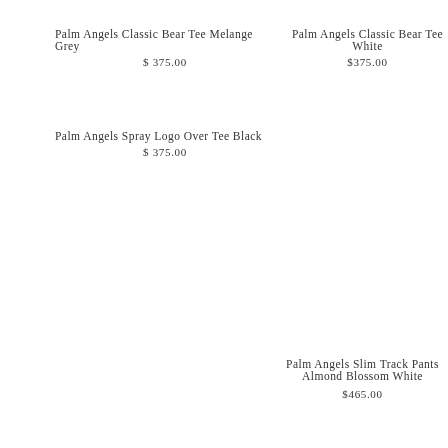Palm Angels Classic Bear Tee Melange Grey
$375.00
Palm Angels Classic Bear Tee White
$375.00
Palm Angels Spray Logo Over Tee Black
$375.00
Palm Angels Slim Track Pants Almond Blossom White
$465.00